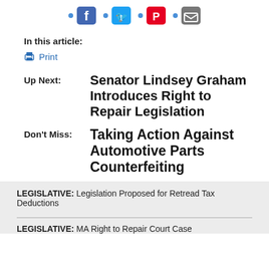[Figure (illustration): Social media share icons: Facebook, Twitter, Pinterest, Email with blue dots]
In this article:
Print
Up Next: Senator Lindsey Graham Introduces Right to Repair Legislation
Don't Miss: Taking Action Against Automotive Parts Counterfeiting
LEGISLATIVE: Legislation Proposed for Retread Tax Deductions
LEGISLATIVE: MA Right to Repair Court Case